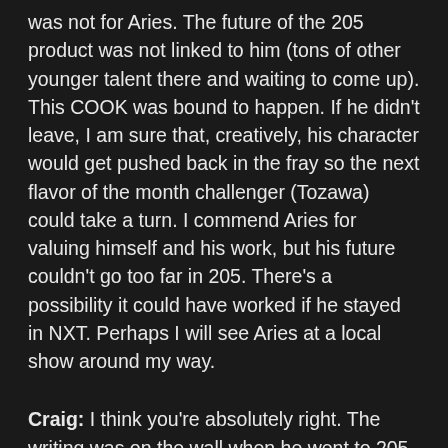was not for Aries. The future of the 205 product was not linked to him (tons of other younger talent there and waiting to come up). This COOK was bound to happen. If he didn't leave, I am sure that, creatively, his character would get pushed back in the fray so the next flavor of the month challenger (Tozawa) could take a turn. I commend Aries for valuing himself and his work, but his future couldn't go too far in 205. There's a possibility it could have worked if he stayed in NXT. Perhaps I will see Aries at a local show around my way.
Craig: I think you're absolutely right. The writing was on the wall when he went to 205 Live. I understand the fact that was adding star power and, if rumours are to believed, I do get that he felt he was being underused and deserved to be pushed higher. Aries is a good talent. He is a very good in-ring performer. He's not the WWE or Universal Champion and would have looked out of place in that position. But that doesn't mean there wasn't a more realistic role for him on the card. There absolutely was a place for him. Him vs. The Miz? I'd be up for that. Him vs AJ Styles? They are familiar with each other and that would have worked. Have the WWE